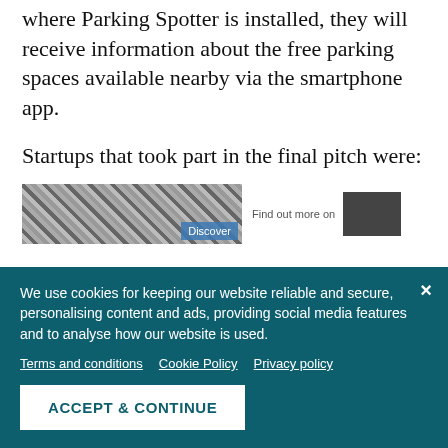where Parking Spotter is installed, they will receive information about the free parking spaces available nearby via the smartphone app.
Startups that took part in the final pitch were:
[Figure (photo): Two thumbnail images side by side: left shows a striped/checkered image with a blue 'Discover' button overlay; right shows a 'Find out more on' label next to a dark rectangular image.]
We use cookies for keeping our website reliable and secure, personalising content and ads, providing social media features and to analyse how our website is used.
Terms and conditions   Cookie Policy   Privacy policy
ACCEPT & CONTINUE